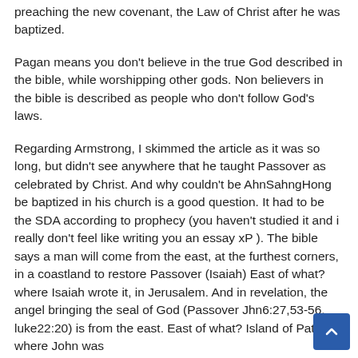preaching the new covenant, the Law of Christ after he was baptized.
Pagan means you don't believe in the true God described in the bible, while worshipping other gods. Non believers in the bible is described as people who don't follow God's laws.
Regarding Armstrong, I skimmed the article as it was so long, but didn't see anywhere that he taught Passover as celebrated by Christ. And why couldn't be AhnSahngHong be baptized in his church is a good question. It had to be the SDA according to prophecy (you haven't studied it and i really don't feel like writing you an essay xP ). The bible says a man will come from the east, at the furthest corners, in a coastland to restore Passover (Isaiah) East of what? where Isaiah wrote it, in Jerusalem. And in revelation, the angel bringing the seal of God (Passover Jhn6:27,53-56, luke22:20) is from the east. East of what? Island of Patmos where John was